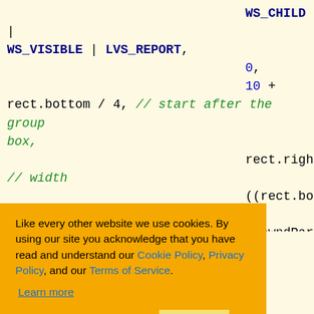WS_CHILD | WS_VISIBLE | LVS_REPORT,
0,
10 + rect.bottom / 4, // start after the group box,
rect.right/4,
// width
((rect.bottom *3)/4) - 10,// height
m_hwndParent,
HINSTANCE)
_HINSTANCE),
ULL);
Like every other website we use cookies. By using our site you acknowledge that you have read and understand our Cookie Policy, Privacy Policy, and our Terms of Service.
Learn more
ndowEx()
"BUTTON". ID parameter. This will be later used to get control events. The code snippet is